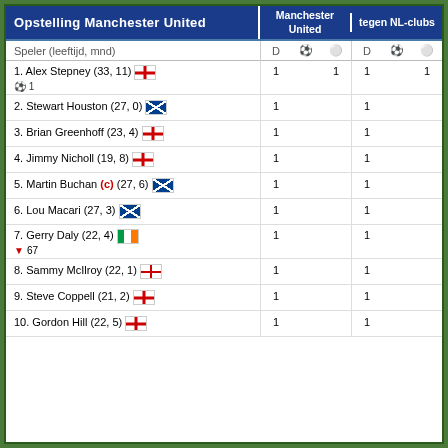Opstelling Manchester United
| Speler (leeftijd, mnd) | D | ⚽ | 🔴 | D | ⚽ | 🔴 |
| --- | --- | --- | --- | --- | --- | --- |
| 1. Alex Stepney (33, 11) [ENG] ⚽ 1 | 1 |  | 1 | 1 |  | 1 |
| 2. Stewart Houston (27, 0) [SCO] | 1 |  |  | 1 |  |  |
| 3. Brian Greenhoff (23, 4) [ENG] | 1 |  |  | 1 |  |  |
| 4. Jimmy Nicholl (19, 8) [ENG] | 1 |  |  | 1 |  |  |
| 5. Martin Buchan (c) (27, 6) [SCO] | 1 |  |  | 1 |  |  |
| 6. Lou Macari (27, 3) [SCO] | 1 |  |  | 1 |  |  |
| 7. Gerry Daly (22, 4) [IRL] ▼ 67 | 1 |  |  | 1 |  |  |
| 8. Sammy McIlroy (22, 1) [NIR] | 1 |  |  | 1 |  |  |
| 9. Steve Coppell (21, 2) [ENG] | 1 |  |  | 1 |  |  |
| 10. Gordon Hill (22, 5) [ENG] | 1 |  |  | 1 |  |  |